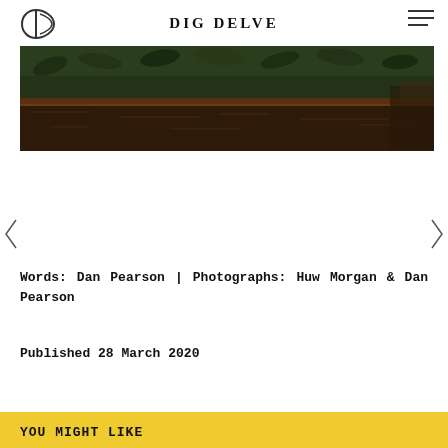DIG DELVE
[Figure (photo): Photograph of a garden bed showing dark soil with green plants/seedlings in the background, taken from a low angle]
Words: Dan Pearson | Photographs: Huw Morgan & Dan Pearson
Published 28 March 2020
YOU MIGHT LIKE